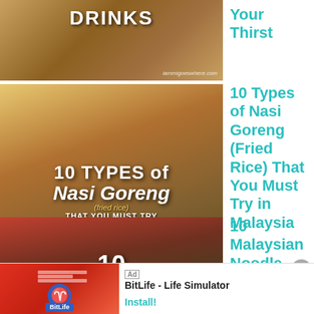[Figure (photo): Thumbnail image with bamboo cups and text overlay 'DRINKS']
Your Thirst
[Figure (photo): Thumbnail image of Nasi Goreng (fried rice) with text overlay '10 Types of Nasi Goreng (fried rice) that YOU MUST TRY in MALAYSIA']
10 Types of Nasi Goreng (Fried Rice) That You Must Try in Malaysia
[Figure (photo): Thumbnail image of noodle dishes with text overlay '10 MUST-TRY Noodle DISHES']
10 Malaysian Noodle Dishes tha
[Figure (screenshot): Advertisement banner for BitLife - Life Simulator app with Install button]